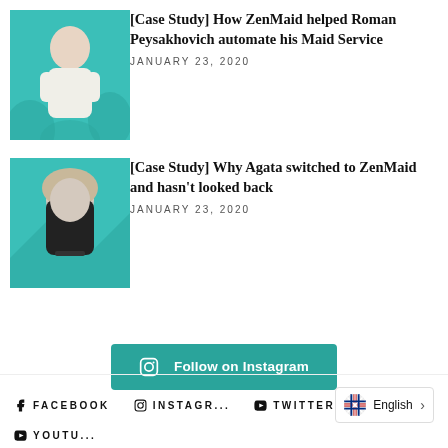[Figure (photo): Teal-tinted photo of a man meditating with flowers in the background]
[Case Study] How ZenMaid helped Roman Peysakhovich automate his Maid Service
JANUARY 23, 2020
[Figure (photo): Teal-tinted photo of a smiling blonde woman]
[Case Study] Why Agata switched to ZenMaid and hasn't looked back
JANUARY 23, 2020
Follow on Instagram
FACEBOOK   INSTAGRAM   TWITTER   YOUTUBE